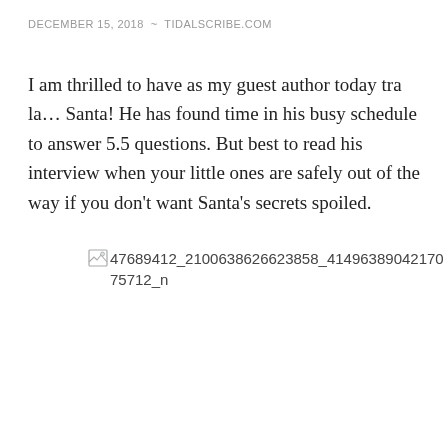DECEMBER 15, 2018 ~ TIDALSCRIBE.COM
I am thrilled to have as my guest author today tra la… Santa! He has found time in his busy schedule to answer 5.5 questions. But best to read his interview when your little ones are safely out of the way if you don't want Santa's secrets spoiled.
[Figure (photo): Broken image placeholder with filename: 47689412_2100638626623858_4149638904217075712_n]